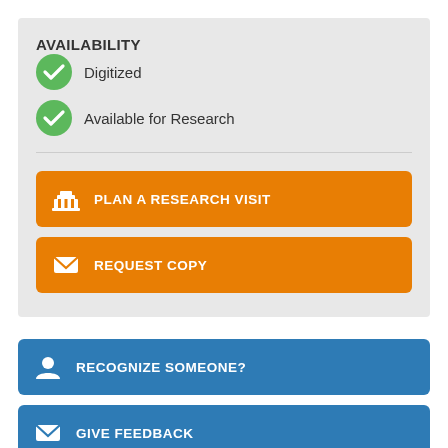AVAILABILITY
Digitized
Available for Research
PLAN A RESEARCH VISIT
REQUEST COPY
RECOGNIZE SOMEONE?
GIVE FEEDBACK